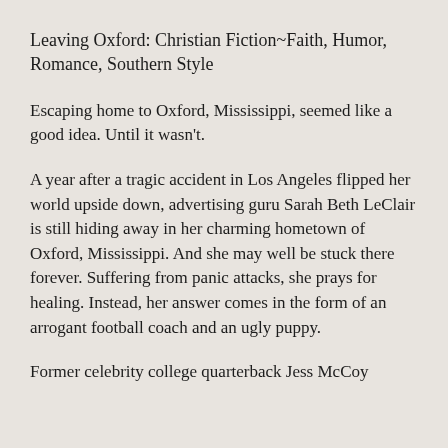Leaving Oxford: Christian Fiction~Faith, Humor, Romance, Southern Style
Escaping home to Oxford, Mississippi, seemed like a good idea. Until it wasn't.
A year after a tragic accident in Los Angeles flipped her world upside down, advertising guru Sarah Beth LeClair is still hiding away in her charming hometown of Oxford, Mississippi. And she may well be stuck there forever. Suffering from panic attacks, she prays for healing. Instead, her answer comes in the form of an arrogant football coach and an ugly puppy.
Former celebrity college quarterback Jess McCoy